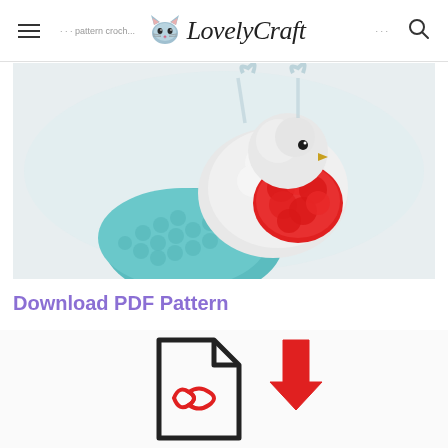LovelyCraft
[Figure (photo): Close-up photo of a crocheted bird ornament with teal/turquoise body, white fluffy feathers, red breast detail, and clear plastic hanger loops against a white background.]
Download PDF Pattern
[Figure (illustration): PDF download icon: a dark outlined document page with a red PDF ribbon/label and a red downward arrow above it, on a light gray background.]